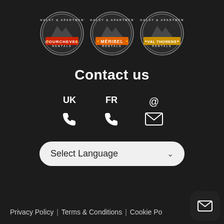[Figure (logo): Three circular badge logos for Chalet & Apartment Rentals: Courchevel (red banner), Méribel (orange banner), Val Thorens (yellow/gold banner)]
Contact us
UK  FR  @
[Figure (infographic): Three contact icons: phone handset for UK, phone handset for FR, envelope/email icon]
Select Language
Privacy Policy |  Terms & Conditions |  Cookie Po...